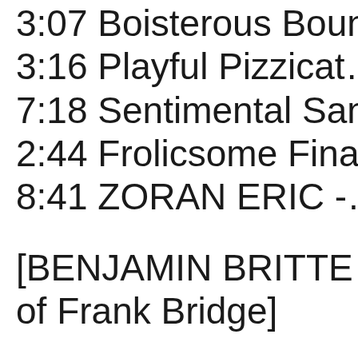3:07 Boisterous Boun…
3:16 Playful Pizzicat…
7:18 Sentimental San…
2:44 Frolicsome Fina…
8:41 ZORAN ERIC -…
[BENJAMIN BRITTE… of Frank Bridge]